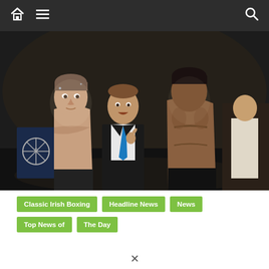Navigation bar with home, menu, and search icons
[Figure (photo): Two boxers facing each other in a boxing ring — a shirtless white male boxer on the left with short hair, and a shirtless darker-skinned boxer on the right, with a man in a black suit and blue tie (referee or official) standing between them in the background. A Mercedes-Benz logo banner is visible on the left side of the ring.]
Classic Irish Boxing
Headline News
News
Top News of The Day